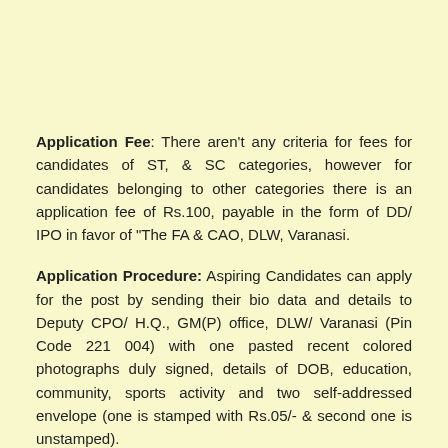Application Fee: There aren't any criteria for fees for candidates of ST, & SC categories, however for candidates belonging to other categories there is an application fee of Rs.100, payable in the form of DD/ IPO in favor of "The FA & CAO, DLW, Varanasi.
Application Procedure: Aspiring Candidates can apply for the post by sending their bio data and details to Deputy CPO/ H.Q., GM(P) office, DLW/ Varanasi (Pin Code 221 004) with one pasted recent colored photographs duly signed, details of DOB, education, community, sports activity and two self-addressed envelope (one is stamped with Rs.05/- & second one is unstamped).
Dates of Importance: Candidates are advised to send their applications in advance such that it can reach the destination